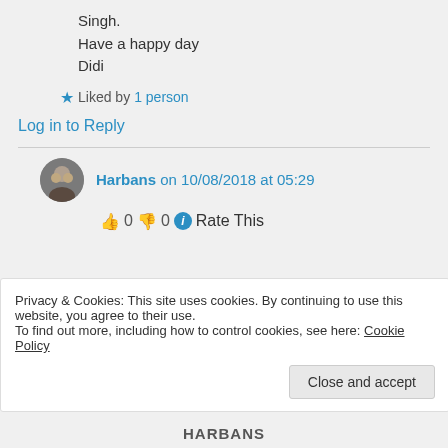Singh.
Have a happy day
Didi
★ Liked by 1 person
Log in to Reply
Harbans on 10/08/2018 at 05:29
👍 0 👎 0 ℹ Rate This
Privacy & Cookies: This site uses cookies. By continuing to use this website, you agree to their use.
To find out more, including how to control cookies, see here: Cookie Policy
Close and accept
HARBANS